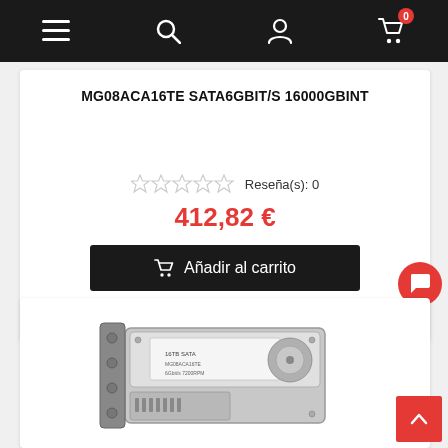Navigation bar with menu, search, user, and cart (0 items) icons
MG08ACA16TE SATA6GBIT/S 16000GBINT
☆☆☆☆☆ Reseña(s): 0
412,82 €
Añadir al carrito
En stock
[Figure (photo): Hard disk drive (HDD) in a metal caddy/tray — product photo on white background]